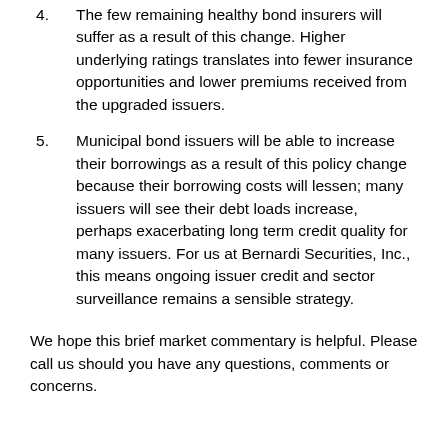The few remaining healthy bond insurers will suffer as a result of this change. Higher underlying ratings translates into fewer insurance opportunities and lower premiums received from the upgraded issuers.
Municipal bond issuers will be able to increase their borrowings as a result of this policy change because their borrowing costs will lessen; many issuers will see their debt loads increase, perhaps exacerbating long term credit quality for many issuers. For us at Bernardi Securities, Inc., this means ongoing issuer credit and sector surveillance remains a sensible strategy.
We hope this brief market commentary is helpful. Please call us should you have any questions, comments or concerns.